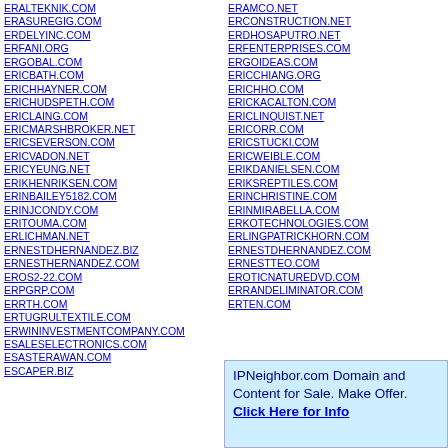ERALTEKNIK.COM
ERASUREGIG.COM
ERDELYINC.COM
ERFANI.ORG
ERGOBAL.COM
ERICBATH.COM
ERICHHAYNER.COM
ERICHUDSPETH.COM
ERICLAING.COM
ERICMARSHBROKER.NET
ERICSEVERSON.COM
ERICVADON.NET
ERICYEUNG.NET
ERIKHENRIKSEN.COM
ERINBAILEY5182.COM
ERINJCONDY.COM
ERITOUMA.COM
ERLICHMAN.NET
ERNESTDHERNANDEZ.BIZ
ERNESTHERNANDEZ.COM
EROS2-22.COM
ERPGRP.COM
ERRTH.COM
ERTUGRULTEXTILE.COM
ERWININVESTMENTCOMPANY.COM
ESALESELECTRONICS.COM
ESASTERAWAN.COM
ESCAPER.BIZ
ERAMCO.NET
ERCONSTRUCTION.NET
ERDHOSAPUTRO.NET
ERFENTERPRISES.COM
ERGOIDEAS.COM
ERICCHIANG.ORG
ERICHHO.COM
ERICKACALTON.COM
ERICLINQUIST.NET
ERICORR.COM
ERICSTUCKI.COM
ERICWEIBLE.COM
ERIKDANIELSEN.COM
ERIKSREPTILES.COM
ERINCHRISTINE.COM
ERINMIRABELLA.COM
ERKOTECHNOLOGIES.COM
ERLINGPATRICKHORN.COM
ERNESTDHERNANDEZ.COM
ERNESTTEO.COM
EROTICNATUREDVD.COM
ERRANDELIMINATOR.COM
ERTEN.COM
IPNeighbor.com Domain and Content for Sale. Make Offer. Click Here for Info